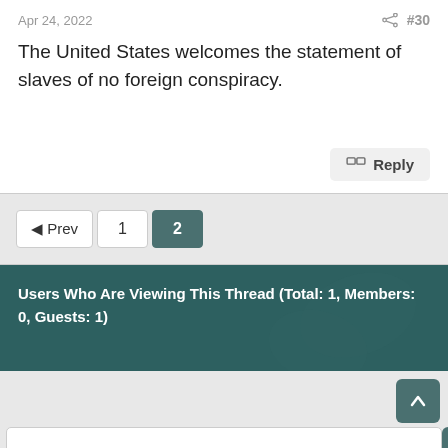Apr 24, 2022   #30
The United States welcomes the statement of slaves of no foreign conspiracy.
Reply
◄ Prev  1  2
Users Who Are Viewing This Thread (Total: 1, Members: 0, Guests: 1)